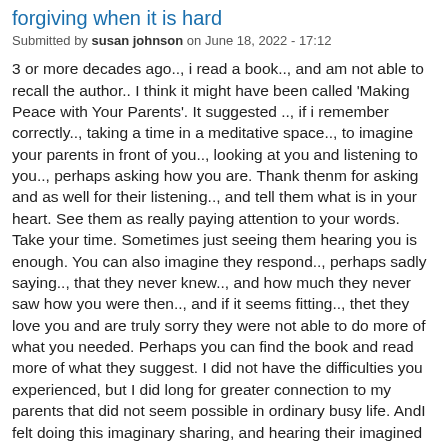forgiving when it is hard
Submitted by susan johnson on June 18, 2022 - 17:12
3 or more decades ago.., i read a book.., and am not able to recall the author.. I think it might have been called 'Making Peace with Your Parents'. It suggested .., if i remember correctly.., taking a time in a meditative space.., to imagine your parents in front of you.., looking at you and listening to you.., perhaps asking how you are. Thank thenm for asking and as well for their listening.., and tell them what is in your heart. See them as really paying attention to your words. Take your time. Sometimes just seeing them hearing you is enough. You can also imagine they respond.., perhaps sadly saying.., that they never knew.., and how much they never saw how you were then.., and if it seems fitting.., thet they love you and are truly sorry they were not able to do more of what you needed. Perhaps you can find the book and read more of what they suggest. I did not have the difficulties you experienced, but I did long for greater connection to my parents that did not seem possible in ordinary busy life. AndI felt doing this imaginary sharing, and hearing their imagined response was helpful. Thank you Dr Kim for this venue and your good words.